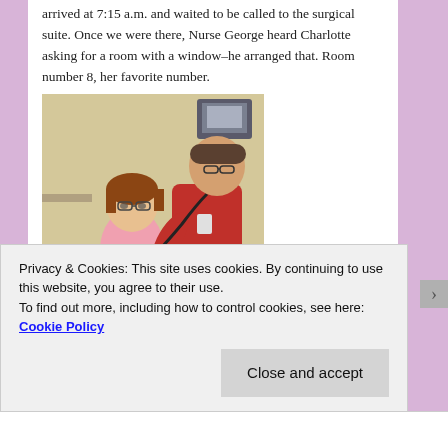arrived at 7:15 a.m. and waited to be called to the surgical suite. Once we were there, Nurse George heard Charlotte asking for a room with a window–he arranged that. Room number 8, her favorite number.
[Figure (photo): A young girl with glasses and short reddish-brown hair wearing a pink shirt sits on a hospital bed while a male nurse or doctor in a red scrub top uses a stethoscope to examine her chest. Medical equipment is visible in the background.]
Privacy & Cookies: This site uses cookies. By continuing to use this website, you agree to their use.
To find out more, including how to control cookies, see here: Cookie Policy
Close and accept